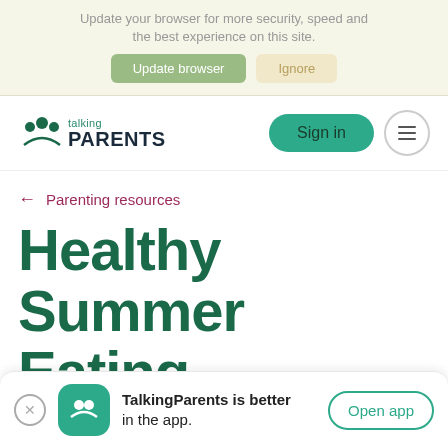Update your browser for more security, speed and the best experience on this site.
Update browser | Ignore
[Figure (logo): TalkingParents logo with talking bubbles icon and text 'talking PARENTS']
Sign in
← Parenting resources
Healthy Summer Eating
TalkingParents is better in the app.
Open app